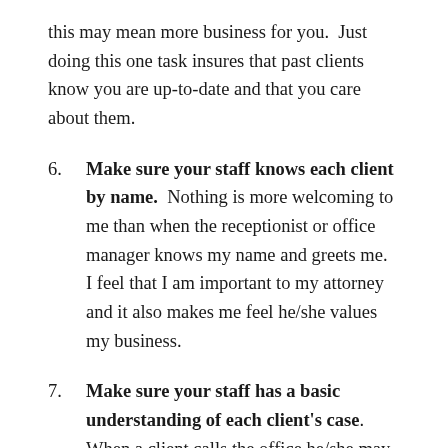this may mean more business for you.  Just doing this one task insures that past clients know you are up-to-date and that you care about them.
6.  Make sure your staff knows each client by name.  Nothing is more welcoming to me than when the receptionist or office manager knows my name and greets me.  I feel that I am important to my attorney and it also makes me feel he/she values my business.
7.  Make sure your staff has a basic understanding of each client's case.  When a client calls the office he/she may have a simple question for the attorney.  If the staff has an understanding of the case they can answer the simple questions.  You will need to be clear with your staff